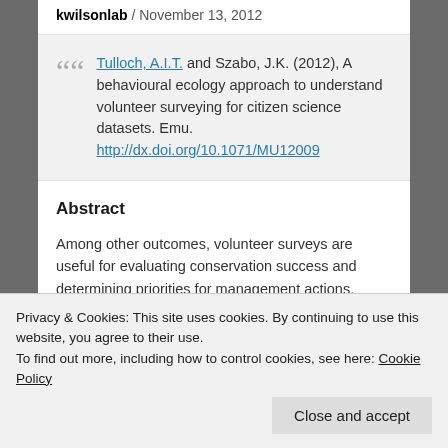kwilsonlab / November 13, 2012
Tulloch, A.I.T. and Szabo, J.K. (2012), A behavioural ecology approach to understand volunteer surveying for citizen science datasets. Emu. http://dx.doi.org/10.1071/MU12009
Abstract
Among other outcomes, volunteer surveys are useful for evaluating conservation success and determining priorities for management actions.
using bird surveys conducted in south-western
Privacy & Cookies: This site uses cookies. By continuing to use this website, you agree to their use. To find out more, including how to control cookies, see here: Cookie Policy